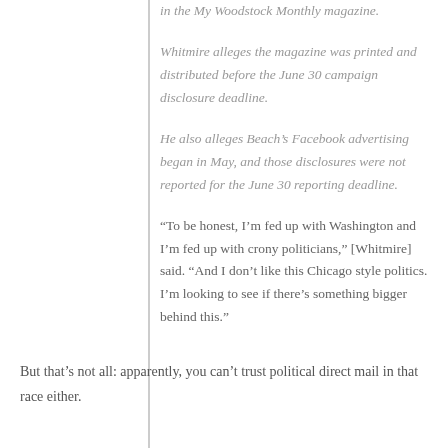in the My Woodstock Monthly magazine.
Whitmire alleges the magazine was printed and distributed before the June 30 campaign disclosure deadline.
He also alleges Beach's Facebook advertising began in May, and those disclosures were not reported for the June 30 reporting deadline.
"To be honest, I'm fed up with Washington and I'm fed up with crony politicians," [Whitmire] said. "And I don't like this Chicago style politics. I'm looking to see if there's something bigger behind this."
But that’s not all: apparently, you can’t trust political direct mail in that race either.